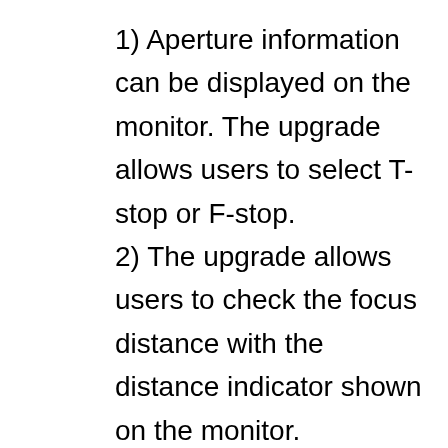1) Aperture information can be displayed on the monitor. The upgrade allows users to select T-stop or F-stop.
2) The upgrade allows users to check the focus distance with the distance indicator shown on the monitor.
3) Automatically corrects